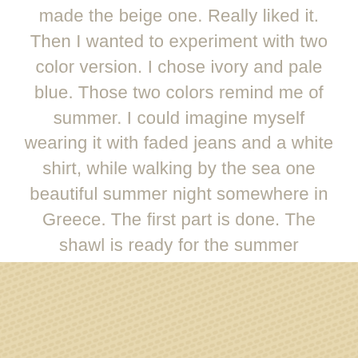made the beige one. Really liked it. Then I wanted to experiment with two color version. I chose ivory and pale blue. Those two colors remind me of summer. I could imagine myself wearing it with faded jeans and a white shirt, while walking by the sea one beautiful summer night somewhere in Greece. The first part is done. The shawl is ready for the summer adventure. Now I have to work on the Greek part.
[Figure (photo): Close-up photograph of a knitted or woven textile with a diagonal pattern in ivory and beige tones, showing the texture of a shawl fabric.]